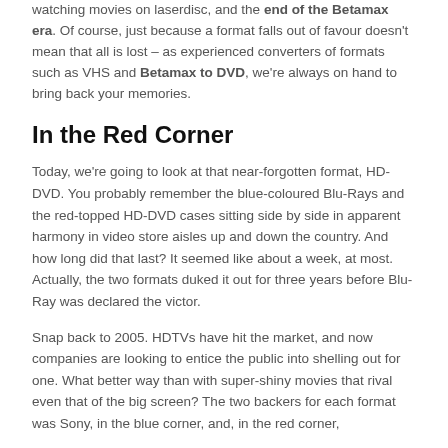watching movies on laserdisc, and the end of the Betamax era. Of course, just because a format falls out of favour doesn't mean that all is lost – as experienced converters of formats such as VHS and Betamax to DVD, we're always on hand to bring back your memories.
In the Red Corner
Today, we're going to look at that near-forgotten format, HD-DVD. You probably remember the blue-coloured Blu-Rays and the red-topped HD-DVD cases sitting side by side in apparent harmony in video store aisles up and down the country. And how long did that last? It seemed like about a week, at most. Actually, the two formats duked it out for three years before Blu-Ray was declared the victor.
Snap back to 2005. HDTVs have hit the market, and now companies are looking to entice the public into shelling out for one. What better way than with super-shiny movies that rival even that of the big screen? The two backers for each format was Sony, in the blue corner, and, in the red corner,